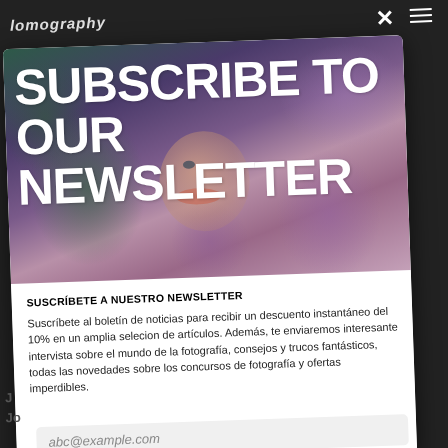lomography
[Figure (photo): Hero banner image showing a woman's face partially hidden by purple lilac flowers, with bold white text overlay reading 'SUBSCRIBE TO OUR NEWSLETTER']
SUSCRÍBETE A NUESTRO NEWSLETTER
Suscríbete al boletín de noticias para recibir un descuento instantáneo del 10% en un amplia selecion de artículos. Además, te enviaremos interesante intervista sobre el mundo de la fotografía, consejos y trucos fantásticos, todas las novedades sobre los concursos de fotografía y ofertas imperdibles.
abc@example.com